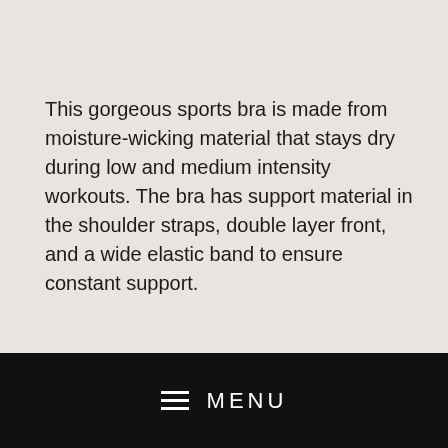This gorgeous sports bra is made from moisture-wicking material that stays dry during low and medium intensity workouts. The bra has support material in the shoulder straps, double layer front, and a wide elastic band to ensure constant support.
• 82% polyester, 18% spandex
• Fabric weight: 6.61 oz/yd² (224 g/m²)
• Scoop neckline and racerback